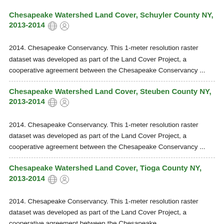Chesapeake Watershed Land Cover, Schuyler County NY, 2013-2014
2014. Chesapeake Conservancy. This 1-meter resolution raster dataset was developed as part of the Land Cover Project, a cooperative agreement between the Chesapeake Conservancy ...
Chesapeake Watershed Land Cover, Steuben County NY, 2013-2014
2014. Chesapeake Conservancy. This 1-meter resolution raster dataset was developed as part of the Land Cover Project, a cooperative agreement between the Chesapeake Conservancy ...
Chesapeake Watershed Land Cover, Tioga County NY, 2013-2014
2014. Chesapeake Conservancy. This 1-meter resolution raster dataset was developed as part of the Land Cover Project, a cooperative agreement between the Chesapeake ...